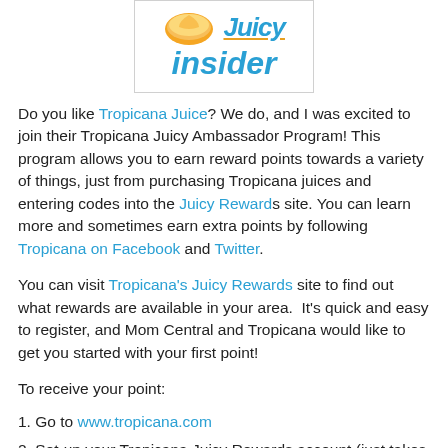[Figure (logo): Tropicana Juicy Insider logo with orange graphic and blue italic text 'Juicy insider']
Do you like Tropicana Juice? We do, and I was excited to join their Tropicana Juicy Ambassador Program! This program allows you to earn reward points towards a variety of things, just from purchasing Tropicana juices and entering codes into the Juicy Rewards site. You can learn more and sometimes earn extra points by following Tropicana on Facebook and Twitter.
You can visit Tropicana's Juicy Rewards site to find out what rewards are available in your area.  It's quick and easy to register, and Mom Central and Tropicana would like to get you started with your first point!
To receive your point:
1. Go to www.tropicana.com
2. Set-up your Tropicana Juicy Rewards account (just takes